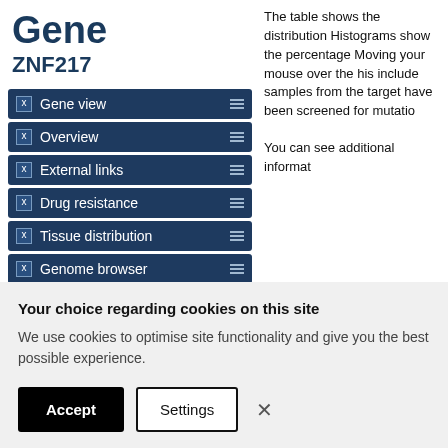Gene
ZNF217
Gene view
Overview
External links
Drug resistance
Tissue distribution
Genome browser
Mutation distribution
The table shows the distribution Histograms show the percentage Moving your mouse over the his include samples from the target have been screened for mutatio
You can see additional informat
| Tissue | Point M | % Mutated |
| --- | --- | --- |
| ▲ |  | %
Mutated |
Your choice regarding cookies on this site
We use cookies to optimise site functionality and give you the best possible experience.
Accept
Settings